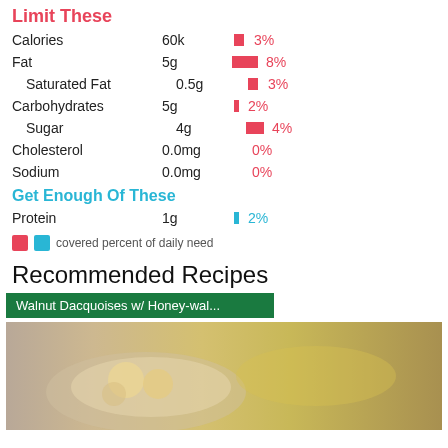Limit These
| Nutrient | Amount | % Daily Value |
| --- | --- | --- |
| Calories | 60k | 3% |
| Fat | 5g | 8% |
| Saturated Fat | 0.5g | 3% |
| Carbohydrates | 5g | 2% |
| Sugar | 4g | 4% |
| Cholesterol | 0.0mg | 0% |
| Sodium | 0.0mg | 0% |
Get Enough Of These
| Nutrient | Amount | % Daily Value |
| --- | --- | --- |
| Protein | 1g | 2% |
covered percent of daily need
Recommended Recipes
[Figure (photo): Walnut Dacquoises w/ Honey-wal... recipe photo showing pastries on a plate]
Walnut Dacquoises w/ Honey-wal...